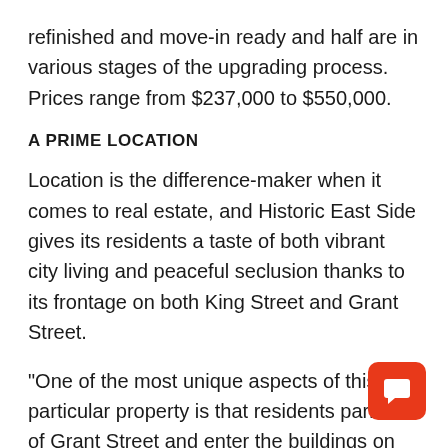refinished and move-in ready and half are in various stages of the upgrading process. Prices range from $237,000 to $550,000.
A PRIME LOCATION
Location is the difference-maker when it comes to real estate, and Historic East Side gives its residents a taste of both vibrant city living and peaceful seclusion thanks to its frontage on both King Street and Grant Street.
“One of the most unique aspects of this particular property is that residents park off of Grant Street and enter the buildings on the Grant Street side,” Meeder says. “The King Street side of the building is a bustling little block. The storefronts in this mixed-use
[Figure (other): Chat/message button icon — orange rounded square with a chat bubble icon in white]